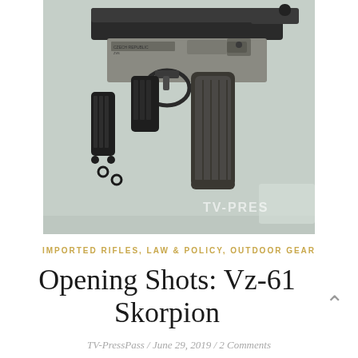[Figure (photo): Close-up photograph of a Vz-61 Skorpion firearm, showing the receiver, trigger, magazine, and grip. The firearm is laid on a light blue surface. A watermark reads 'TV-PRES' in the lower right corner.]
IMPORTED RIFLES, LAW & POLICY, OUTDOOR GEAR
Opening Shots: Vz-61 Skorpion
TV-PressPass / June 29, 2019 / 2 Comments